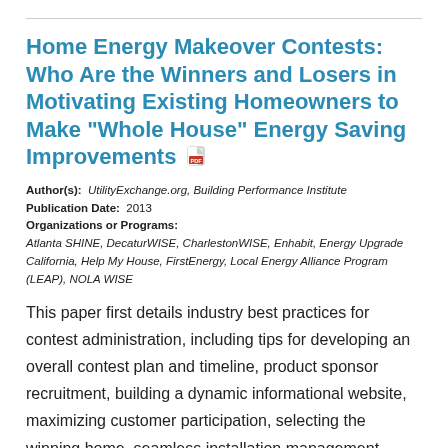Home Energy Makeover Contests: Who Are the Winners and Losers in Motivating Existing Homeowners to Make "Whole House" Energy Saving Improvements
Author(s): UtilityExchange.org, Building Performance Institute
Publication Date: 2013
Organizations or Programs:
Atlanta SHINE, DecaturWISE, CharlestonWISE, Enhabit, Energy Upgrade California, Help My House, FirstEnergy, Local Energy Alliance Program (LEAP), NOLA WISE
This paper first details industry best practices for contest administration, including tips for developing an overall contest plan and timeline, product sponsor recruitment, building a dynamic informational website, maximizing customer participation, selecting the winning home, seamless installation management, capturing and documenting project results, conducting a high profile media open house and facilitating customer workshops